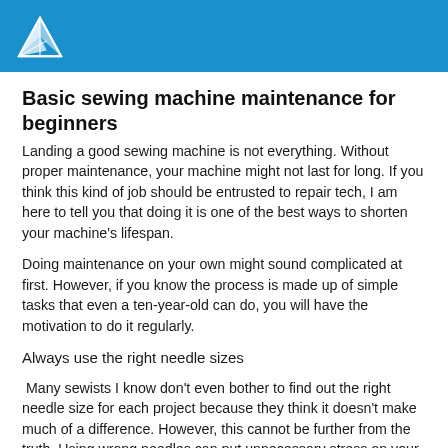[Logo]
Basic sewing machine maintenance for beginners
Landing a good sewing machine is not everything. Without proper maintenance, your machine might not last for long. If you think this kind of job should be entrusted to repair tech, I am here to tell you that doing it is one of the best ways to shorten your machine’s lifespan.
Doing maintenance on your own might sound complicated at first. However, if you know the process is made up of simple tasks that even a ten-year-old can do, you will have the motivation to do it regularly.
Always use the right needle sizes
Many sewists I know don’t even bother to find out the right needle size for each project because they think it doesn’t make much of a difference. However, this cannot be further from the truth. Using wrong needles can put unnecessary stress on your